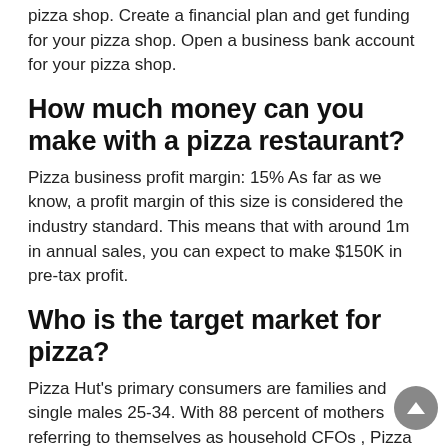pizza shop. Create a financial plan and get funding for your pizza shop. Open a business bank account for your pizza shop.
How much money can you make with a pizza restaurant?
Pizza business profit margin: 15% As far as we know, a profit margin of this size is considered the industry standard. This means that with around 1m in annual sales, you can expect to make $150K in pre-tax profit.
Who is the target market for pizza?
Pizza Hut's primary consumers are families and single males 25-34. With 88 percent of mothers referring to themselves as household CFOs , Pizza Hut knew they